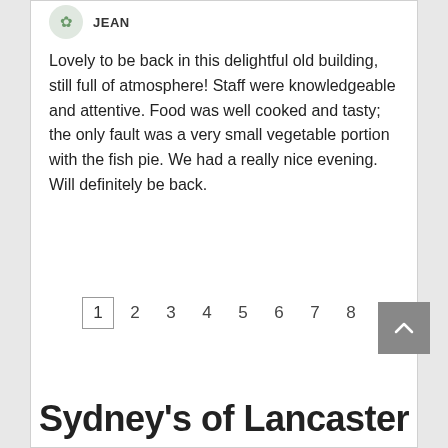JEAN
Lovely to be back in this delightful old building, still full of atmosphere! Staff were knowledgeable and attentive. Food was well cooked and tasty; the only fault was a very small vegetable portion with the fish pie. We had a really nice evening. Will definitely be back.
1 2 3 4 5 6 7 8
Sydney's of Lancaster